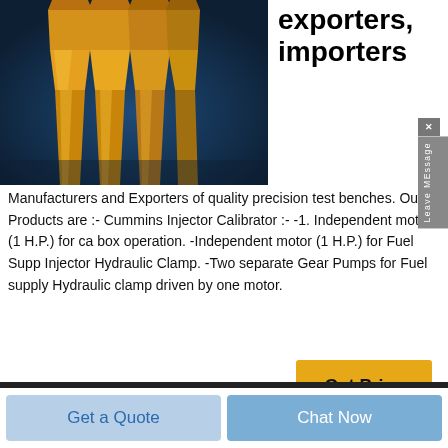[Figure (photo): Close-up photo of golden/bronze colored fuel injector nozzles against a dark blue background]
exporters, importers
Manufacturers and Exporters of quality precision test benches. Our Products are :- Cummins Injector Calibrator :- -1. Independent motor (1 H.P.) for ca box operation. -Independent motor (1 H.P.) for Fuel Supp Injector Hydraulic Clamp. -Two separate Gear Pumps for Fuel supply Hydraulic clamp driven by one motor.
[Figure (screenshot): Get Price button (yellow/gold) with scroll-up circle button]
[Figure (photo): Dark background section at bottom with partial circular logo visible]
Get a Quote
Chat Now